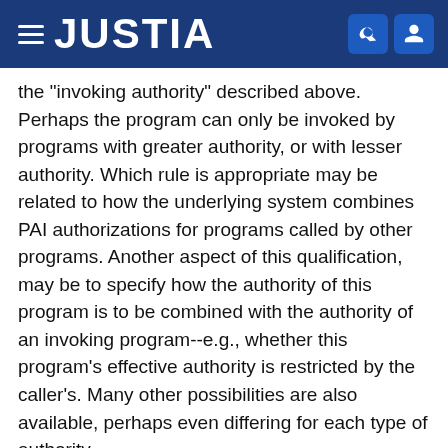JUSTIA
the "invoking authority" described above. Perhaps the program can only be invoked by programs with greater authority, or with lesser authority. Which rule is appropriate may be related to how the underlying system combines PAI authorizations for programs called by other programs. Another aspect of this qualification, may be to specify how the authority of this program is to be combined with the authority of an invoking program--e.g., whether this program's effective authority is restricted by the caller's. Many other possibilities are also available, perhaps even differing for each type of authority.
Turning to FIG. 7, if the authority identified in block 220 was not selected, then a check is made to determine whether the program is to be allowed to generate electronic mail (222). If so, then a check is made as to whether this ability to generate electronic mail is limited...